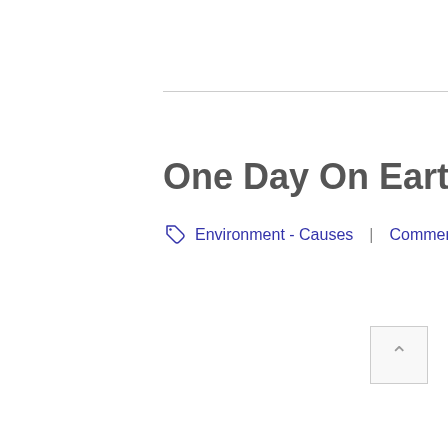One Day On Earth – 11/11/1
Environment - Causes  |  Comment  |  ♡ 0